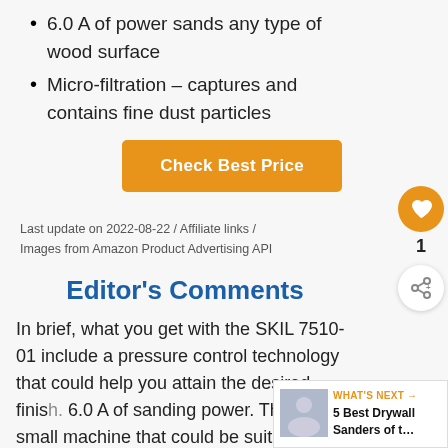6.0 A of power sands any type of wood surface
Micro-filtration – captures and contains fine dust particles
[Figure (other): Orange 'Check Best Price' button]
Last update on 2022-08-22 / Affiliate links / Images from Amazon Product Advertising API
Editor's Comments
In brief, what you get with the SKIL 7510-01 include a pressure control technology that could help you attain the desired finish. 6.0 A of sanding power. This is a small machine that could be suitable for a small